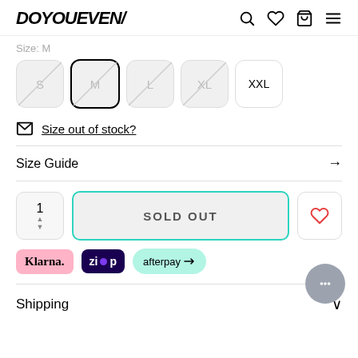DOYOUEVEN/
Size: M
[Figure (other): Size selector buttons: S, M (selected with black border), L, XL (all crossed out/greyed), XXL (available)]
Size out of stock?
Size Guide →
1  SOLD OUT  ♡
[Figure (other): Payment provider logos: Klarna, Zip, Afterpay]
Shipping ∨